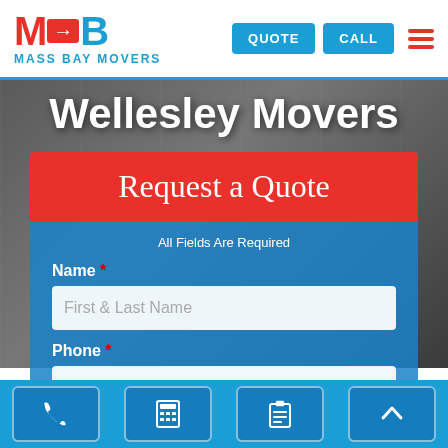[Figure (logo): Mass Bay Movers logo with MB icon and blue/red color scheme]
QUOTE
CALL
Wellesley Movers
Request a Quote
All Fields Are Required
Name *
First & Last Name
Phone *
000-000-000